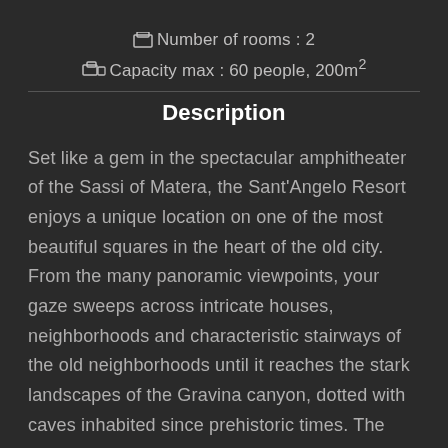Number of rooms : 2
Capacity max : 60 people, 200m²
Description
Set like a gem in the spectacular amphitheater of the Sassi of Matera, the Sant'Angelo Resort enjoys a unique location on one of the most beautiful squares in the heart of the old city. From the many panoramic viewpoints, your gaze sweeps across intricate houses, neighborhoods and characteristic stairways of the old neighborhoods until it reaches the stark landscapes of the Gravina canyon, dotted with caves inhabited since prehistoric times. The